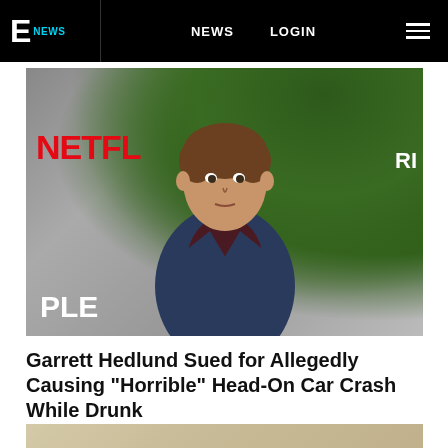E NEWS | NEWS | LOGIN
[Figure (photo): Photo of Garrett Hedlund at a Netflix event, wearing a dark navy blazer over a burgundy turtleneck, with greenery and stone wall in the background. Netflix and People logos visible.]
Garrett Hedlund Sued for Allegedly Causing "Horrible" Head-On Car Crash While Drunk
January 22, 2022
[Figure (photo): Partial photo visible at bottom of page, appears to show a person in light-colored clothing.]